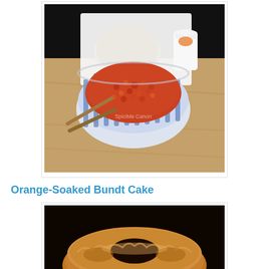[Figure (photo): A bowl of red/orange spiced minced meat dish in a blue and white striped ceramic bowl, with white rice on a rectangular white plate and a small white creamer jug in the background, all on a wooden surface.]
Orange-Soaked Bundt Cake
[Figure (photo): A golden-brown bundt cake on a dark background, partially visible at bottom of page.]